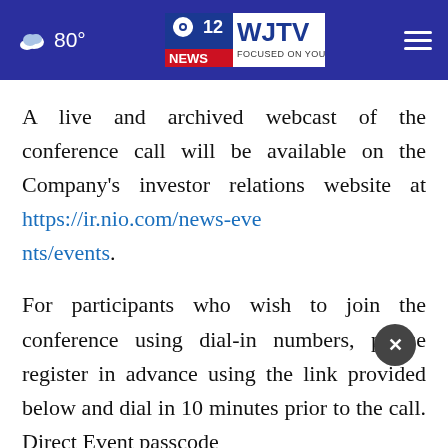80° | WJTV 12 NEWS FOCUSED ON YOU
A live and archived webcast of the conference call will be available on the Company's investor relations website at https://ir.nio.com/news-events/events.
For participants who wish to join the conference using dial-in numbers, please register in advance using the link provided below and dial in 10 minutes prior to the call. Direct Event passcode and unique registrant ID would be provided upon registering.